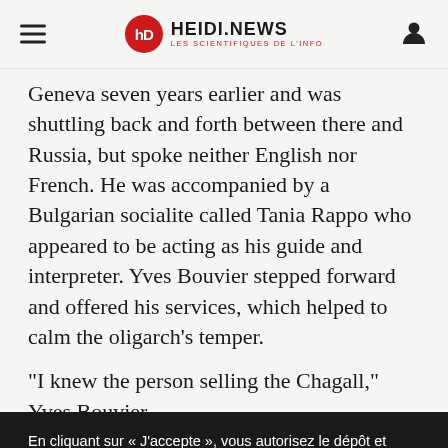HEIDI.NEWS — LES SCIENTIFIQUES DE L'INFO
Geneva seven years earlier and was shuttling back and forth between there and Russia, but spoke neither English nor French. He was accompanied by a Bulgarian socialite called Tania Rappo who appeared to be acting as his guide and interpreter. Yves Bouvier stepped forward and offered his services, which helped to calm the oligarch's temper.
“I knew the person selling the Chagall,” Yves Bouvier
En cliquant sur « J’accepte », vous autorisez le dépôt et stockage de cookies sur votre appareil, conformément à notre politique des cookies, afin d’améliorer la navigation sur le site, analyser son utilisation, recueillir des données d’audience et de vous fournir des publicités ciblées. Pour savoir plus et pour modifier les cookies déposés sur votre appareil, cliquez sur le bouton «Gestion des cookies»